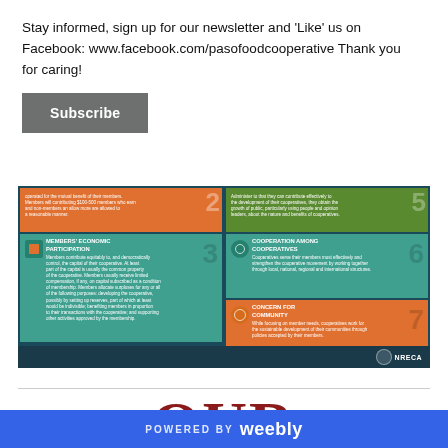Stay informed, sign up for our newsletter and 'Like' us on Facebook: www.facebook.com/pasofoodcooperative Thank you for caring!
Subscribe
[Figure (infographic): NRECA cooperative principles infographic showing panels: Members' Economic Participation (3), Cooperation Among Cooperatives (6), Concern for Community (7) on a dark teal background]
OUR BYLAWS
POWERED BY weebly